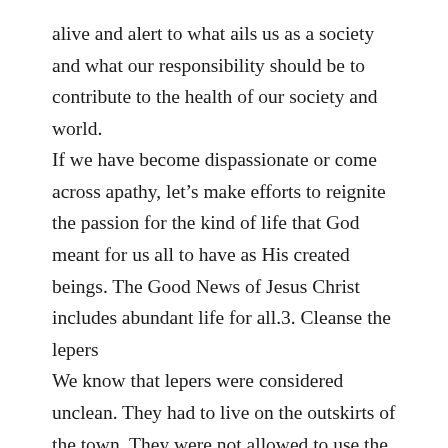alive and alert to what ails us as a society and what our responsibility should be to contribute to the health of our society and world. If we have become dispassionate or come across apathy, let's make efforts to reignite the passion for the kind of life that God meant for us all to have as His created beings. The Good News of Jesus Christ includes abundant life for all.3. Cleanse the lepers We know that lepers were considered unclean. They had to live on the outskirts of the town. They were not allowed to use the same resources as other people. Today, we may or may not have people around us that are afflicted with the disease of leprosy, but in our social treatment of some people we certainly have 'social lepers' – people that we keep far from us. And we're not